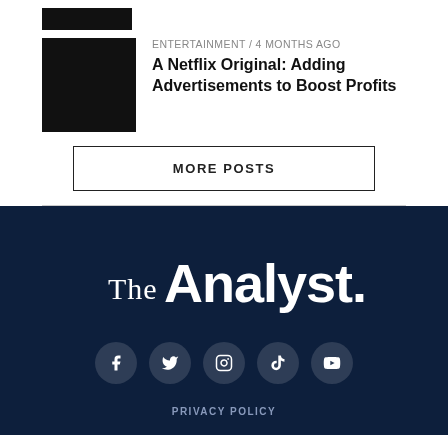[Figure (photo): Black rectangle placeholder image (small top bar)]
[Figure (photo): Black rectangle thumbnail for article]
ENTERTAINMENT / 4 months ago
A Netflix Original: Adding Advertisements to Boost Profits
MORE POSTS
[Figure (logo): The Analyst. logo in white on dark navy background]
PRIVACY POLICY